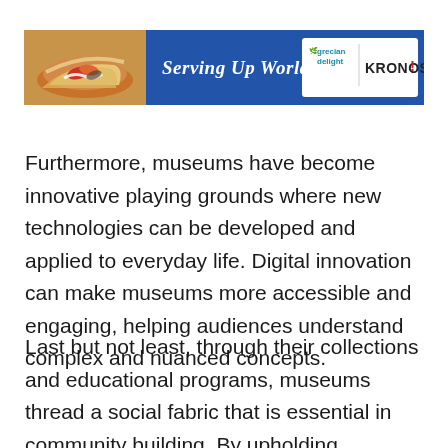[Figure (other): Advertisement banner for Grecian Delight / KRONOS featuring food (tacos/gyros) on left and 'Serving Up World Flavors.' text with logos on blue background]
Furthermore, museums have become innovative playing grounds where new technologies can be developed and applied to everyday life. Digital innovation can make museums more accessible and engaging, helping audiences understand complex and nuanced concepts.
Last but not least, through their collections and educational programs, museums thread a social fabric that is essential in community building. By upholding democratic values and providing life-